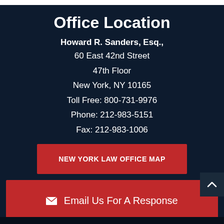Office Location
Howard R. Sanders, Esq.,
60 East 42nd Street
47th Floor
New York, NY 10165
Toll Free: 800-731-9976
Phone: 212-983-5151
Fax: 212-983-1006
NEW YORK LAW OFFICE MAP
Email Us For A Response